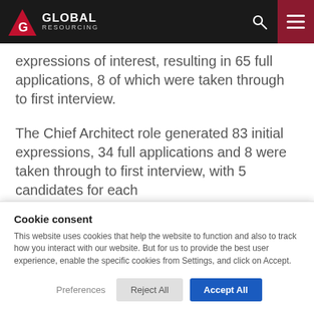GLOBAL RESOURCING
expressions of interest, resulting in 65 full applications, 8 of which were taken through to first interview.
The Chief Architect role generated 83 initial expressions, 34 full applications and 8 were taken through to first interview, with 5 candidates for each
Cookie consent
This website uses cookies that help the website to function and also to track how you interact with our website. But for us to provide the best user experience, enable the specific cookies from Settings, and click on Accept.
Preferences   Reject All   Accept All